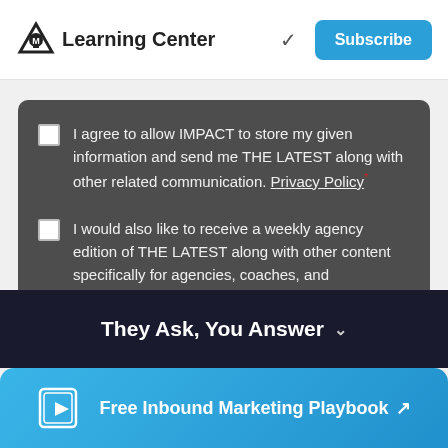Learning Center
I agree to allow IMPACT to store my given information and send me THE LATEST along with other related communication. Privacy Policy*
I would also like to receive a weekly agency edition of THE LATEST along with other content specifically for agencies, coaches, and consultants.
They Ask, You Answer
Free Inbound Marketing Playbook ↗